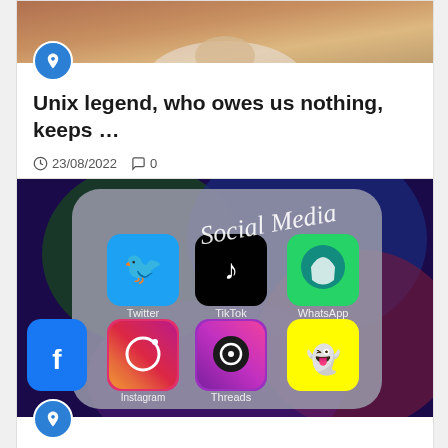[Figure (photo): Partial photo of a person, cropped at top of card]
Unix legend, who owes us nothing, keeps ...
23/08/2022  0
[Figure (photo): Phone screen showing social media apps: Twitter, TikTok, Instagram, WhatsApp, Threads, Facebook, Snapchat. Text overlay reads 'Social Media']
Ten Horror Stories from the Depths of ...
25/07/2022  0